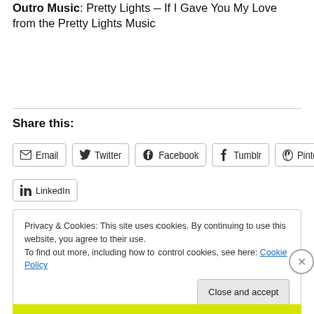Outro Music: Pretty Lights – If I Gave You My Love from the Pretty Lights Music
Share this:
Email  Twitter  Facebook  Tumblr  Pinterest  LinkedIn
Privacy & Cookies: This site uses cookies. By continuing to use this website, you agree to their use.
To find out more, including how to control cookies, see here: Cookie Policy
Close and accept